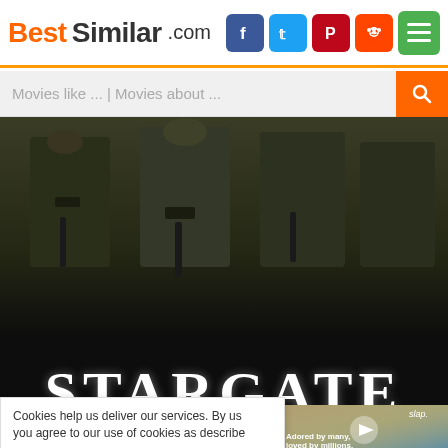BestSimilar.com
Movies like ... | Movies about ...
[Figure (screenshot): Stargate SG-1 TV show title card with soldiers in the background and white serif text reading STARGATE SG·1 on a black background]
TRAILE
[Figure (screenshot): Video player overlay showing a person with text 'Adored by many, loved by millions,' and a slap.com watermark]
Cookies help us deliver our services. By us you agree to our use of cookies as describe
Preferences
Accept